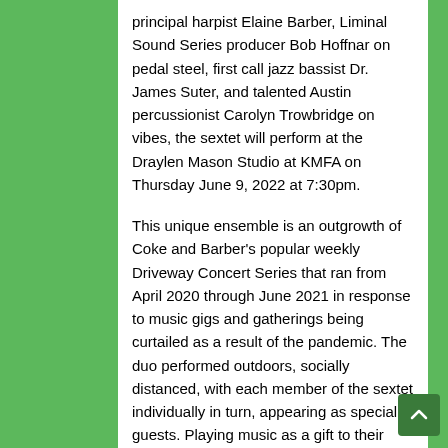principal harpist Elaine Barber, Liminal Sound Series producer Bob Hoffnar on pedal steel, first call jazz bassist Dr. James Suter, and talented Austin percussionist Carolyn Trowbridge on vibes, the sextet will perform at the Draylen Mason Studio at KMFA on Thursday June 9, 2022 at 7:30pm.
This unique ensemble is an outgrowth of Coke and Barber's popular weekly Driveway Concert Series that ran from April 2020 through June 2021 in response to music gigs and gatherings being curtailed as a result of the pandemic. The duo performed outdoors, socially distanced, with each member of the sextet individually in turn, appearing as special guests. Playing music as a gift to their local neighborhood at first, the project took shape as the possibilities for meetings indoors returned.
The Monday night concerts made way for rehearsals,